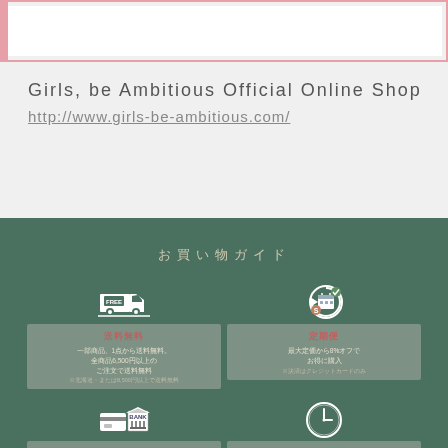[Figure (other): Pink-bordered banner/header bar at top of page]
Girls, be Ambitious Official Online Shop
http://www.girls-be-ambitious.com/
お買い物ガイド
[Figure (infographic): Free shipping icon with truck and FREE label]
送料無料
一部商品、1点から送料無料。全商品6,500円以上のご注文で送料無料
※北海道・または8,500円以上で送料無料
[Figure (infographic): Subscription/regular delivery icon with circular arrow]
定期便
最大定価から8%オフでお得に購入
※決済はクレジットカードのみ
[Figure (infographic): Payment method icon with credit card and bank]
決済方法
クレジットカード決済
コンビニの後払い
銀行・ゆうちょ銀行振込
[Figure (infographic): Shipping/dispatch icon with clock]
出荷
ご注文から3営業日以内に出荷
（土日祝日は休み）